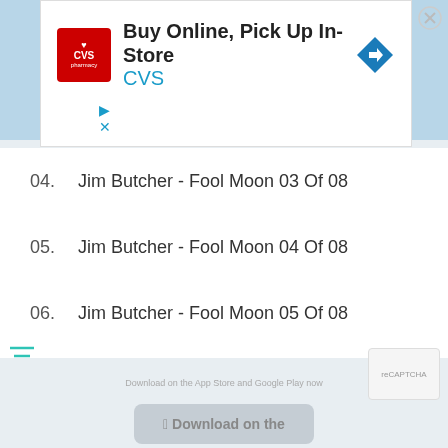[Figure (screenshot): CVS Pharmacy advertisement banner: Buy Online, Pick Up In-Store with CVS logo and navigation arrow icon]
04.    Jim Butcher - Fool Moon 03 Of 08
05.    Jim Butcher - Fool Moon 04 Of 08
06.    Jim Butcher - Fool Moon 05 Of 08
07.    Jim Butcher - Fool Moon 06 Of 08
08.    Jim Butcher - Fool Moon 07 Of 08
09.    Jim Butcher - Fool Moon 08 Of 08